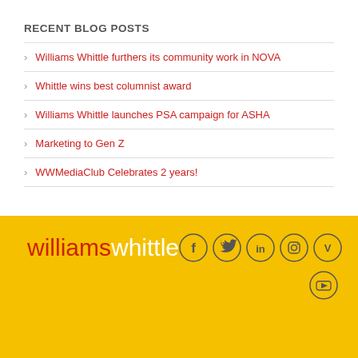RECENT BLOG POSTS
Williams Whittle furthers its community work in NOVA
Whittle wins best columnist award
Williams Whittle launches PSA campaign for ASHA
Marketing to Gen Z
WWMediaClub Celebrates 2 years!
[Figure (logo): Williams Whittle logo with social media icons (Facebook, Twitter, LinkedIn, Instagram, Vimeo, YouTube) on a yellow background]